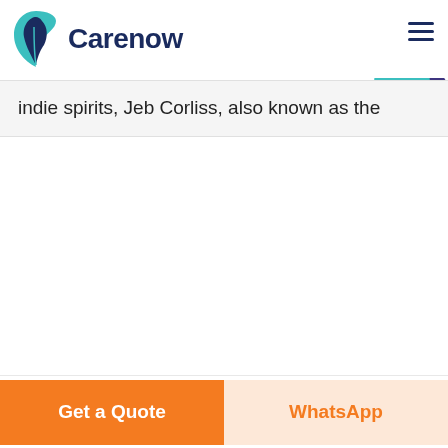[Figure (logo): Carenow logo with teal and dark navy leaf/tooth icon and bold dark blue 'Carenow' wordmark]
indie spirits, Jeb Corliss, also known as the
[Figure (infographic): Live Chat speech bubble icon in teal with white text 'LIVE CHAT' and dark navy chat bubble behind it]